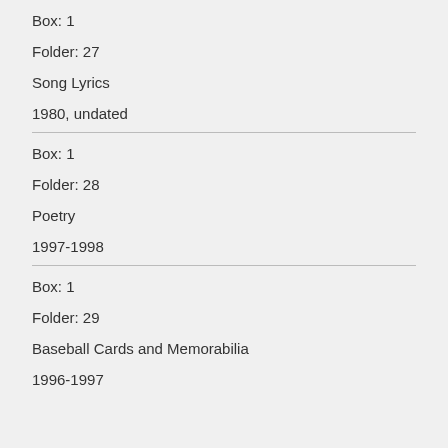Box: 1
Folder: 27
Song Lyrics
1980, undated
Box: 1
Folder: 28
Poetry
1997-1998
Box: 1
Folder: 29
Baseball Cards and Memorabilia
1996-1997